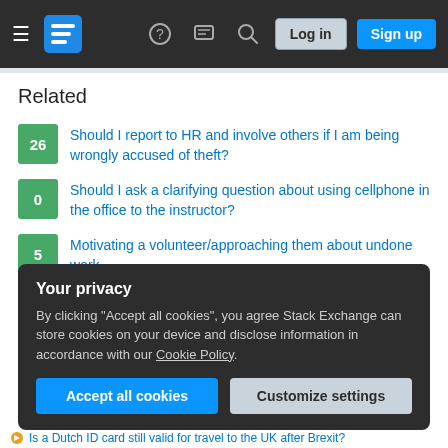Stack Exchange navigation bar with hamburger menu, site logo, help icon, chat icon, search icon, Log in and Sign up buttons
Related
26 — Should I report to HR and involve others if I am being wrongly accused of theft?
0 — Should I ask a clarifying question about using cellphone in the office to the instructor?
5 — Motivating a volunteer/approaching them about undone work
73 — Receptionist at work keeps delaying promises
13 — Manager doesn't remember me
Your privacy
By clicking "Accept all cookies", you agree Stack Exchange can store cookies on your device and disclose information in accordance with our Cookie Policy.
[Accept all cookies] [Customize settings]
Is a Dutch ID card still valid for travel to the UK after Brexit?